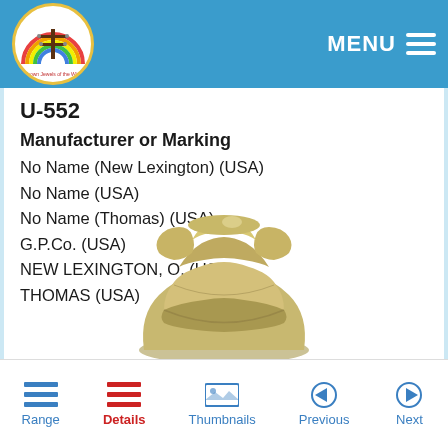MENU
U-552
Manufacturer or Marking
No Name (New Lexington) (USA)
No Name (USA)
No Name (Thomas) (USA)
G.P.Co. (USA)
NEW LEXINGTON, O. (USA)
THOMAS (USA)
[Figure (photo): Ceramic/porcelain insulator in olive/tan glaze, shown from above at slight angle, double-groove knob style, top visible with concave saddle shape]
Range  Details  Thumbnails  Previous  Next